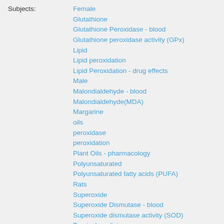Subjects: Female, Glutathione, Glutathione Peroxidase - blood, Glutathione peroxidase activity (GPx), Lipid, Lipid peroxidation, Lipid Peroxidation - drug effects, Male, Malondialdehyde - blood, Malondialdehyde(MDA), Margarine, oils, peroxidase, peroxidation, Plant Oils - pharmacology, Polyunsaturated, Polyunsaturated fatty acids (PUFA), Rats, Superoxide, Superoxide Dismutase - blood, Superoxide dismutase activity (SOD), Tropical medicine, Vegetable, Vegetable oils
Quelle: Alma/SFX Local Collection